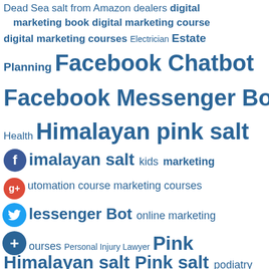[Figure (infographic): Tag cloud / word cloud with various marketing and product-related keywords in varying font sizes in blue, with social media icons (Facebook, Google+, Twitter, and a plus/add icon) overlaid on the left side.]